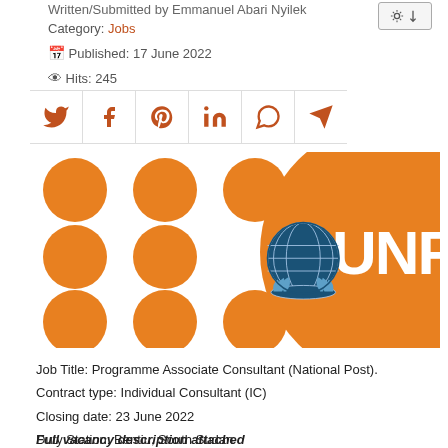Written/Submitted by Emmanuel Abari Nyilek
Category: Jobs
Published: 17 June 2022
Hits: 245
[Figure (logo): UNFPA logo with orange dots pattern and UN emblem]
Job Title: Programme Associate Consultant (National Post).
Contract type: Individual Consultant (IC)
Closing date: 23 June 2022
Duty Station: Bentiu, South Sudan
Full vacancy description attached